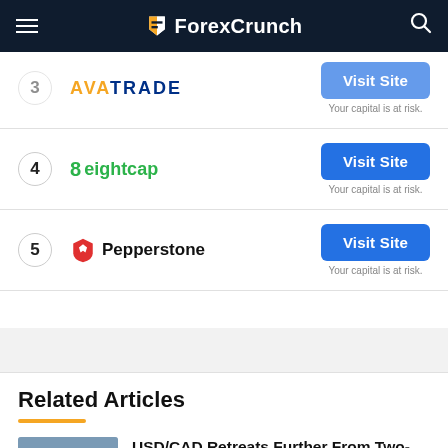ForexCrunch
[Figure (logo): AvaTrade broker logo with blue text]
Your capital is at risk.
[Figure (logo): Eightcap broker logo with green text]
Visit Site
Your capital is at risk.
[Figure (logo): Pepperstone broker logo with red shield icon]
Visit Site
Your capital is at risk.
Related Articles
USD/CAD Retreats Further From Two-Month Tops, Slides To 1.2400